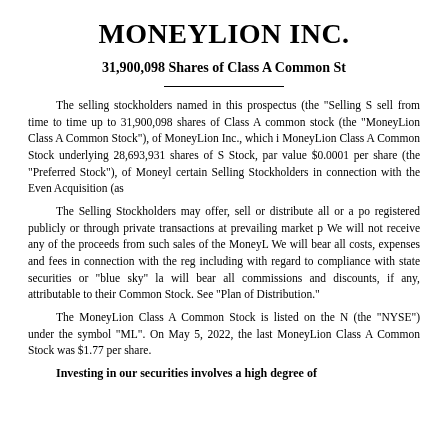MONEYLION INC.
31,900,098 Shares of Class A Common Stock
The selling stockholders named in this prospectus (the "Selling Stockholders") may sell from time to time up to 31,900,098 shares of Class A common stock (the "MoneyLion Class A Common Stock"), of MoneyLion Inc., which includes MoneyLion Class A Common Stock underlying 28,693,931 shares of Series B Preferred Stock, par value $0.0001 per share (the "Preferred Stock"), of MoneyLion issued to certain Selling Stockholders in connection with the Even Acquisition (as
The Selling Stockholders may offer, sell or distribute all or a portion of the shares registered publicly or through private transactions at prevailing market prices or otherwise. We will not receive any of the proceeds from such sales of the MoneyLion Class A Common Stock. We will bear all costs, expenses and fees in connection with the registration of the shares, including with regard to compliance with state securities or "blue sky" laws. The Selling Stockholders will bear all commissions and discounts, if any, attributable to their sales of MoneyLion Class A Common Stock. See "Plan of Distribution."
The MoneyLion Class A Common Stock is listed on the NYSE (the "NYSE") under the symbol "ML". On May 5, 2022, the last sale price of MoneyLion Class A Common Stock was $1.77 per share.
Investing in our securities involves a high degree of